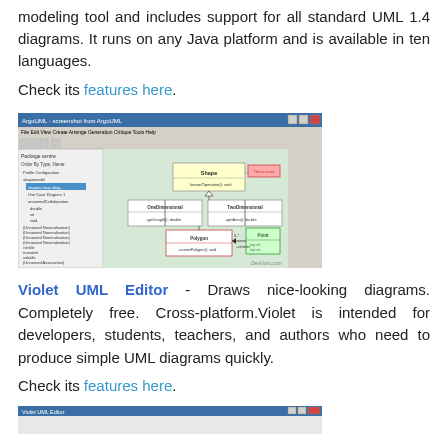modeling tool and includes support for all standard UML 1.4 diagrams. It runs on any Java platform and is available in ten languages.
Check its features here.
[Figure (screenshot): Screenshot of a UML modeling tool showing a class diagram with shapes including Shape, OneDimensional, TwoDimensional, Polygon, and Point classes with inheritance relationships. Interface shows package explorer on left and diagram canvas on right. DevGuru.com watermark visible.]
Violet UML Editor - Draws nice-looking diagrams. Completely free. Cross-platform. Violet is intended for developers, students, teachers, and authors who need to produce simple UML diagrams quickly.
Check its features here.
[Figure (screenshot): Partial screenshot of Violet UML Editor at the bottom of the page, cropped.]